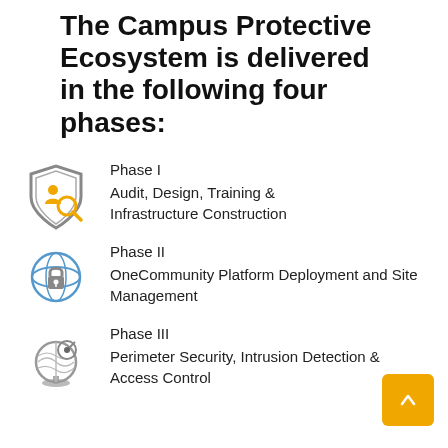The Campus Protective Ecosystem is delivered in the following four phases:
Phase I
Audit, Design, Training & Infrastructure Construction
Phase II
OneCommunity Platform Deployment and Site Management
Phase III
Perimeter Security, Intrusion Detection & Access Control